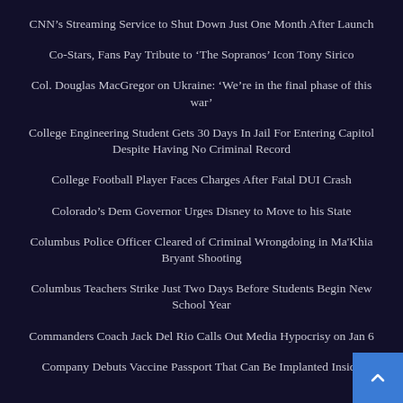CNN’s Streaming Service to Shut Down Just One Month After Launch
Co-Stars, Fans Pay Tribute to ‘The Sopranos’ Icon Tony Sirico
Col. Douglas MacGregor on Ukraine: ‘We’re in the final phase of this war’
College Engineering Student Gets 30 Days In Jail For Entering Capitol Despite Having No Criminal Record
College Football Player Faces Charges After Fatal DUI Crash
Colorado’s Dem Governor Urges Disney to Move to his State
Columbus Police Officer Cleared of Criminal Wrongdoing in Ma'Khia Bryant Shooting
Columbus Teachers Strike Just Two Days Before Students Begin New School Year
Commanders Coach Jack Del Rio Calls Out Media Hypocrisy on Jan 6
Company Debuts Vaccine Passport That Can Be Implanted Inside